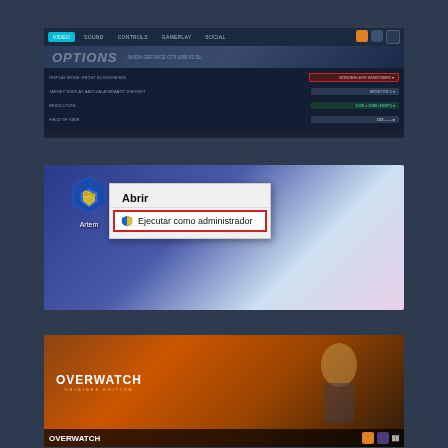[Figure (screenshot): Overwatch game options screen showing VIDEO tab selected, with settings for display mode (BORDERLESS WINDOWED), target display, resolution (1920x1080 HDR), and field of view]
[Figure (screenshot): Desktop context menu showing 'Artem' application icon with right-click menu displaying options 'Abrir' and highlighted 'Ejecutar como administrador' with Windows UAC shield icon, anime girl background]
[Figure (screenshot): Overwatch game client taskbar screenshot showing OVERWATCH logo and game launcher]